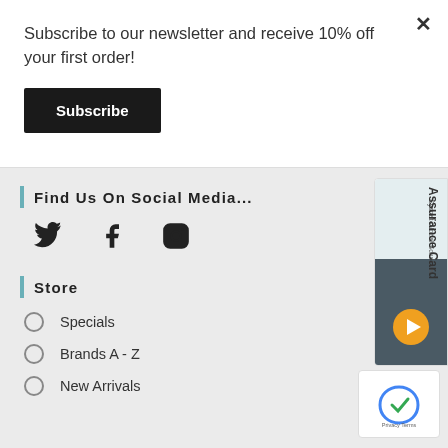Subscribe to our newsletter and receive 10% off your first order!
Subscribe
Find Us On Social Media...
[Figure (illustration): Social media icons: Twitter, Facebook, Instagram]
Store
Specials
Brands A - Z
New Arrivals
[Figure (illustration): Sysnet Global Solutions Assurance Card advertisement with orange circle arrow button]
[Figure (illustration): reCAPTCHA widget with Privacy Terms text]